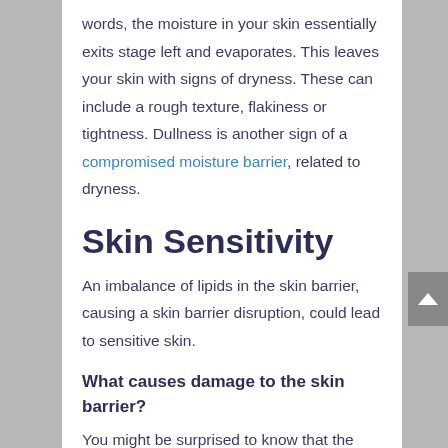words, the moisture in your skin essentially exits stage left and evaporates. This leaves your skin with signs of dryness. These can include a rough texture, flakiness or tightness. Dullness is another sign of a compromised moisture barrier, related to dryness.
Skin Sensitivity
An imbalance of lipids in the skin barrier, causing a skin barrier disruption, could lead to sensitive skin.
What causes damage to the skin barrier?
You might be surprised to know that the main causes of damage to the skin barrier come from everyday life and habits. Here are some of the most common culprits.